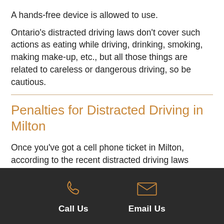A hands-free device is allowed to use.
Ontario's distracted driving laws don't cover such actions as eating while driving, drinking, smoking, making make-up, etc., but all those things are related to careless or dangerous driving, so be cautious.
Penalties for Distracted Driving in Milton
Once you've got a cell phone ticket in Milton, according to the recent distracted driving laws changes you can face the following penalties (A to G drivers):
First conviction:
Call Us  Email Us